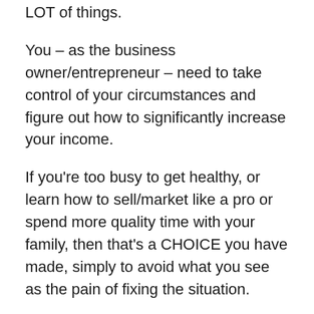LOT of things.
You – as the business owner/entrepreneur – need to take control of your circumstances and figure out how to significantly increase your income.
If you're too busy to get healthy, or learn how to sell/market like a pro or spend more quality time with your family, then that's a CHOICE you have made, simply to avoid what you see as the pain of fixing the situation.
Instead, if you push through the discomfort and do what really needs to be done, you'll end up much happier, healthier and more